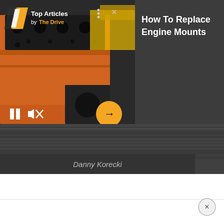[Figure (screenshot): Video player widget showing an orange engine block. Left side is a video thumbnail with a logo, 'Top Articles by The Drive' header, pause and mute controls at bottom left, and an orange arrow button at bottom right. Right side is a dark panel.]
How To Replace Engine Mounts
Danny Korecki
[Figure (screenshot): Dark horizontal strip resembling a video timeline/scrubber area with motion blur effect.]